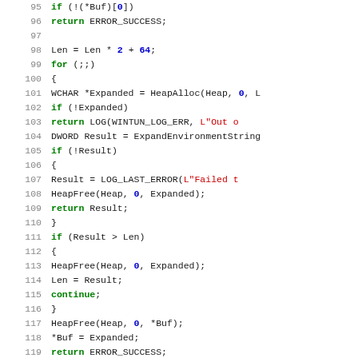[Figure (screenshot): Source code listing showing C/C++ code lines 95-122 with syntax highlighting. Green keywords (if, for, return, continue), blue numbers (0, 2, 64), red string literals, black identifiers on white background.]